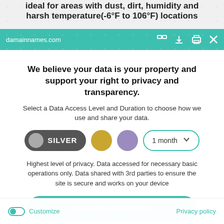ideal for areas with dust, dirt, humidity and harsh temperature(-6°F to 106°F) locations
damainnames.com
We believe your data is your property and support your right to privacy and transparency.
Select a Data Access Level and Duration to choose how we use and share your data.
[Figure (other): Data access level selector with Silver pill toggle, gold circle, purple circle, and 1 month dropdown]
Highest level of privacy. Data accessed for necessary basic operations only. Data shared with 3rd parties to ensure the site is secure and works on your device
Save my preferences
Customize
Privacy policy